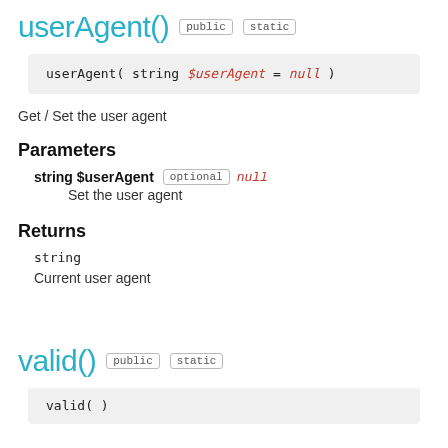userAgent()  public  static
userAgent( string $userAgent = null )
Get / Set the user agent
Parameters
string $userAgent  optional  null
Set the user agent
Returns
string
Current user agent
valid()  public  static
valid( )